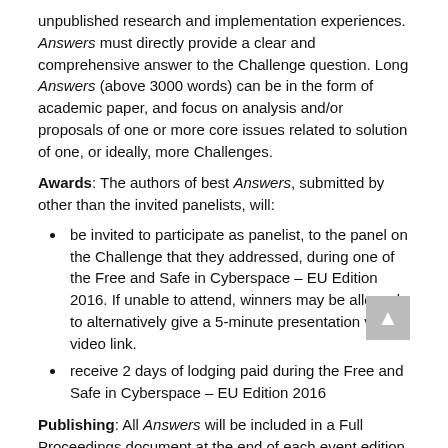unpublished research and implementation experiences. Answers must directly provide a clear and comprehensive answer to the Challenge question. Long Answers (above 3000 words) can be in the form of academic paper, and focus on analysis and/or proposals of one or more core issues related to solution of one, or ideally, more Challenges.
Awards: The authors of best Answers, submitted by other than the invited panelists, will:
be invited to participate as panelist, to the panel on the Challenge that they addressed, during one of the Free and Safe in Cyberspace – EU Edition 2016. If unable to attend, winners may be allowed to alternatively give a 5-minute presentation via video link.
receive 2 days of lodging paid during the Free and Safe in Cyberspace – EU Edition 2016
Publishing: All Answers will be included in a Full Proceedings document at the end of each event edition. We'll be exploring the posibly of entiring into